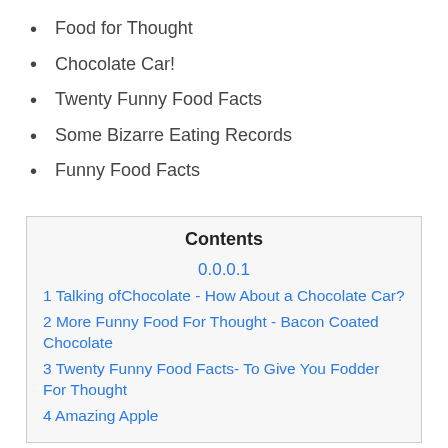Food for Thought
Chocolate Car!
Twenty Funny Food Facts
Some Bizarre Eating Records
Funny Food Facts
| Contents |
| --- |
| 0.0.0.1 |
| 1 Talking ofChocolate - How About a Chocolate Car? |
| 2 More Funny Food For Thought - Bacon Coated Chocolate |
| 3 Twenty Funny Food Facts- To Give You Fodder For Thought |
| 4 Amazing Apple |